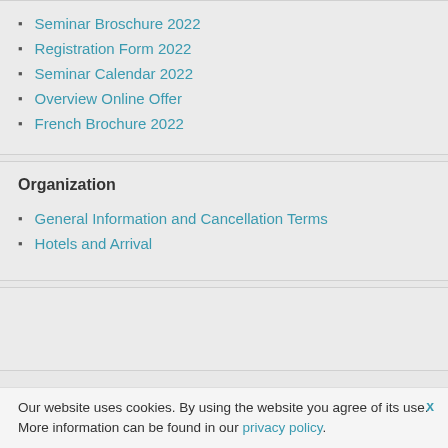Seminar Broschure 2022
Registration Form 2022
Seminar Calendar 2022
Overview Online Offer
French Brochure 2022
Organization
General Information and Cancellation Terms
Hotels and Arrival
Our website uses cookies. By using the website you agree of its use. More information can be found in our privacy policy.